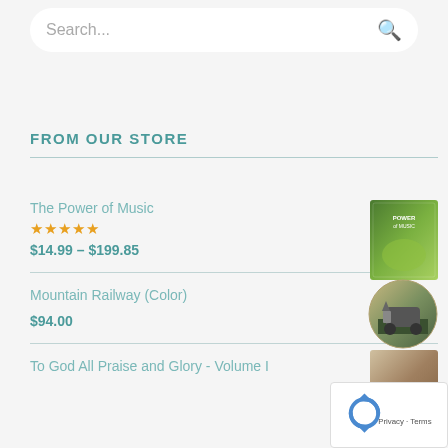Search...
FROM OUR STORE
The Power of Music
★★★★★
$14.99 – $199.85
[Figure (photo): The Power of Music book cover with green field background]
Mountain Railway (Color)
$94.00
[Figure (photo): Mountain Railway circular image showing a steam locomotive]
To God All Praise and Glory - Volume I
[Figure (photo): To God All Praise and Glory Volume I product image]
[Figure (other): reCAPTCHA widget with Privacy and Terms text]